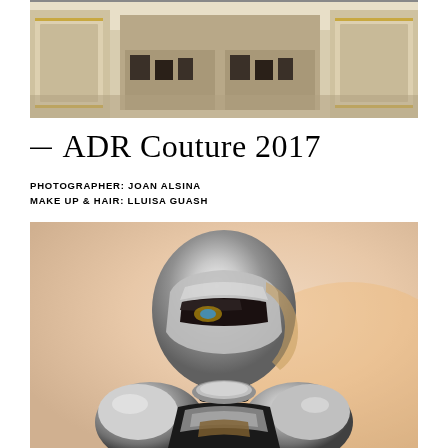[Figure (photo): Interior of a luxury fashion store with ornate white walls, gold-framed decorative panels, display cases and shelving with products]
— ADR Couture 2017
PHOTOGRAPHER: JOAN ALSINA
MAKE UP & HAIR: LLUISA GUASH
[Figure (photo): A model wearing a silver metallic helmet/mask resembling a superhero or robot covering part of the face, with a silver armored costume, against a light peach/beige background]